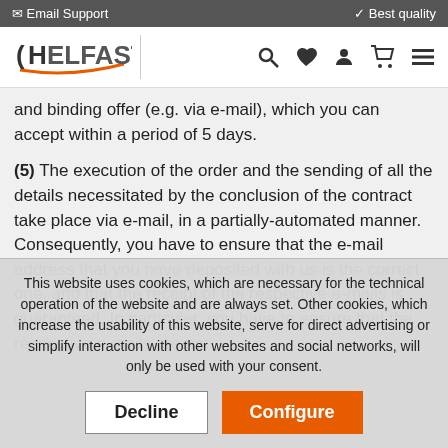✉ Email Support   ✓ Best quality
[Figure (logo): HELFAST logo with orange swoosh underline]
and binding offer (e.g. via e-mail), which you can accept within a period of 5 days.
(5) The execution of the order and the sending of all the details necessitated by the conclusion of the contract take place via e-mail, in a partially-automated manner. Consequently, you have to ensure that the e-mail address that you have deposited with us is the correct one, and that the receipt of the respective e-mails is guaranteed. In particular, you have to ensure that the respective e-mails are not
This website uses cookies, which are necessary for the technical operation of the website and are always set. Other cookies, which increase the usability of this website, serve for direct advertising or simplify interaction with other websites and social networks, will only be used with your consent.
Decline   Configure